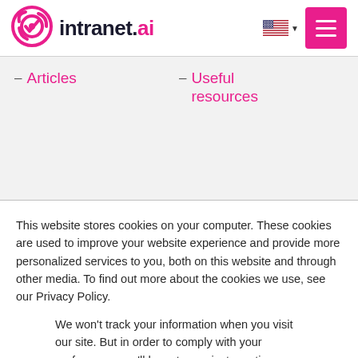[Figure (logo): intranet.ai logo with pink target/swirl icon and dark text with pink .ai]
- Articles
- Useful resources
This website stores cookies on your computer. These cookies are used to improve your website experience and provide more personalized services to you, both on this website and through other media. To find out more about the cookies we use, see our Privacy Policy.
We won't track your information when you visit our site. But in order to comply with your preferences, we'll have to use just one tiny cookie so that you're not asked to make this choice again.
Accept | Decline